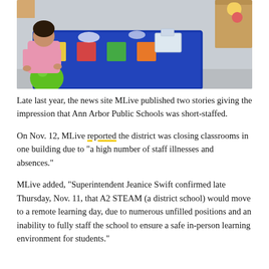[Figure (photo): Classroom photo showing a child in a pink shirt sitting on a green exercise ball on a colorful blue educational rug, with desks and school supplies visible in the background.]
Late last year, the news site MLive published two stories giving the impression that Ann Arbor Public Schools was short-staffed.
On Nov. 12, MLive reported the district was closing classrooms in one building due to "a high number of staff illnesses and absences."
MLive added, "Superintendent Jeanice Swift confirmed late Thursday, Nov. 11, that A2 STEAM (a district school) would move to a remote learning day, due to numerous unfilled positions and an inability to fully staff the school to ensure a safe in-person learning environment for students."